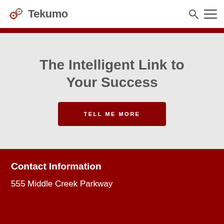[Figure (logo): Tekumo logo with gear icons and the text 'Tekumo' in bold gray]
The Intelligent Link to Your Success
TELL ME MORE
Contact Information
555 Middle Creek Parkway